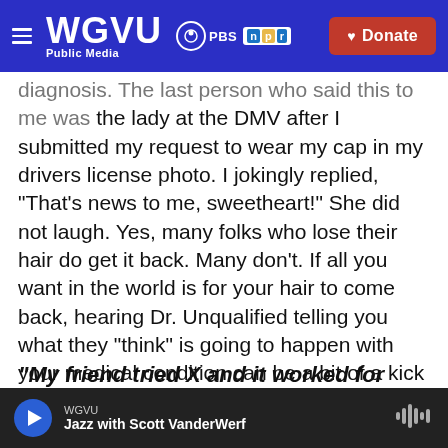WGVU Public Media | PBS | npr | Donate
diagnosis. The last person who said this to me was the lady at the DMV after I submitted my request to wear my cap in my drivers license photo. I jokingly replied, "That's news to me, sweetheart!" She did not laugh. Yes, many folks who lose their hair do get it back. Many don't. If all you want in the world is for your hair to come back, hearing Dr. Unqualified telling you what they "think" is going to happen with your medical condition can be a bit of a kick in the pants, even if it's coming from a good place.
"My friend tried X and it worked for her!"
WGVU | Jazz with Scott VanderWerf